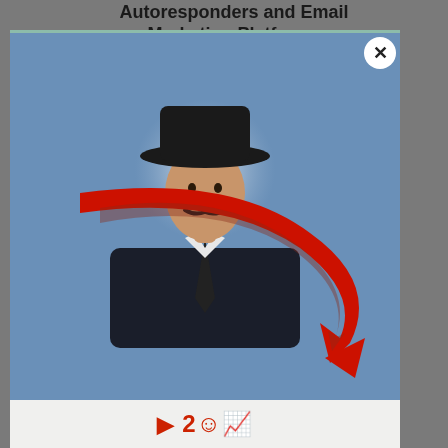Autoresponders and Email Marketing Platforms
[Figure (photo): Modal/popup overlay on a gray background showing a man in a dark suit and black cowboy hat with a mustache, displayed on a blue-gray gradient background with a large red curved arrow pointing downward below him. A white circle close button with an X is in the top right corner of the modal. A partial bottom strip is visible with red text.]